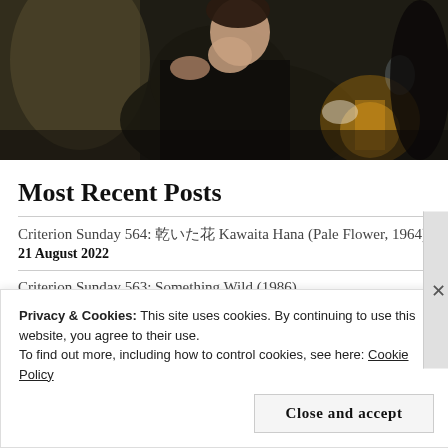[Figure (photo): A woman in a dark plaid outfit, photographed from above in a dimly lit room with a warm lamp in the background — a film still.]
Most Recent Posts
Criterion Sunday 564: 乾いた花 Kawaita Hana (Pale Flower, 1964)
21 August 2022
Criterion Sunday 563: Something Wild (1986)
21 August 2022
Privacy & Cookies: This site uses cookies. By continuing to use this website, you agree to their use.
To find out more, including how to control cookies, see here: Cookie Policy
Close and accept